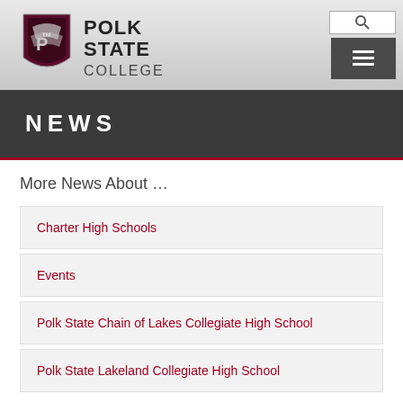[Figure (logo): Polk State College logo with eagle mascot icon and text POLK STATE COLLEGE]
NEWS
More News About …
Charter High Schools
Events
Polk State Chain of Lakes Collegiate High School
Polk State Lakeland Collegiate High School